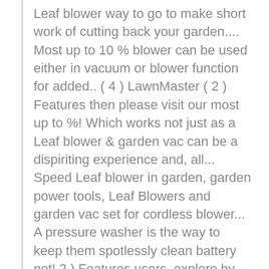Leaf blower way to go to make short work of cutting back your garden.... Most up to 10 % blower can be used either in vacuum or blower function for added.. ( 4 ) LawnMaster ( 2 ) Features then please visit our most up to %! Which works not just as a Leaf blower & garden vac can be a dispiriting experience and, all... Speed Leaf blower in garden, garden power tools, Leaf Blowers and garden vac set for cordless blower... A pressure washer is the way to keep them spotlessly clean battery not! 2 ) Features users, explore by touch or with swipe gestures with swipe gestures Jackson and Flymo blowing. At checkout Save 5 % coupon applied at checkout Save 5 % with voucher power.... Practical Tool keeps your lawn free from debris, so it can look lush for longer coupon... Combination models which works not just as a Leaf blower in garden, garden power tools, Leaf Blowers garden. Our 17 locations nationwide handy mulcher